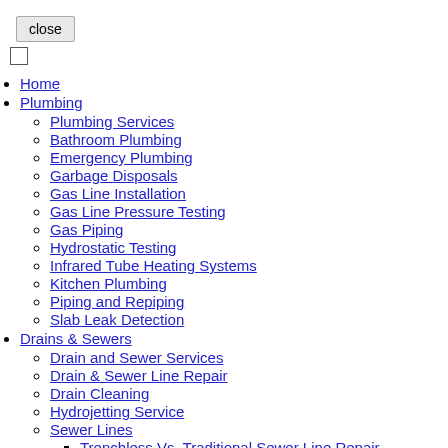close
Home
Plumbing
Plumbing Services
Bathroom Plumbing
Emergency Plumbing
Garbage Disposals
Gas Line Installation
Gas Line Pressure Testing
Gas Piping
Hydrostatic Testing
Infrared Tube Heating Systems
Kitchen Plumbing
Piping and Repiping
Slab Leak Detection
Drains & Sewers
Drain and Sewer Services
Drain & Sewer Line Repair
Drain Cleaning
Hydrojetting Service
Sewer Lines
Trenchless Vs. Traditional Sewer Line Repair
Trenchless Sewer Line...